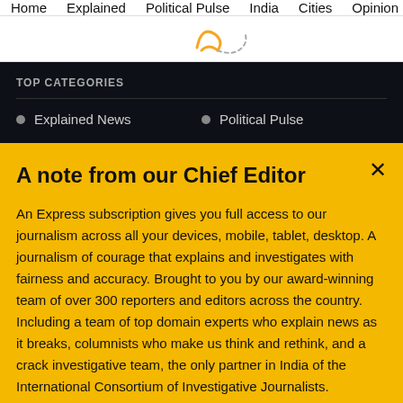Home  Explained  Political Pulse  India  Cities  Opinion  Entertainment
[Figure (logo): Partial decorative logo/icon in orange and gray dashed style]
TOP CATEGORIES
Explained News
Political Pulse
A note from our Chief Editor
An Express subscription gives you full access to our journalism across all your devices, mobile, tablet, desktop. A journalism of courage that explains and investigates with fairness and accuracy. Brought to you by our award-winning team of over 300 reporters and editors across the country. Including a team of top domain experts who explain news as it breaks, columnists who make us think and rethink, and a crack investigative team, the only partner in India of the International Consortium of Investigative Journalists. Journalism
Buy Now →